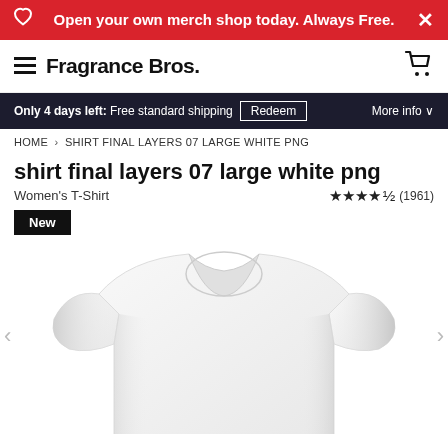Open your own merch shop today. Always Free.
Fragrance Bros.
Only 4 days left: Free standard shipping  Redeem  More info
HOME > SHIRT FINAL LAYERS 07 LARGE WHITE PNG
shirt final layers 07 large white png
Women's T-Shirt
★★★★½ (1961)
New
[Figure (photo): White women's t-shirt product photo on a white background, front view, showing crew neck and short sleeves]